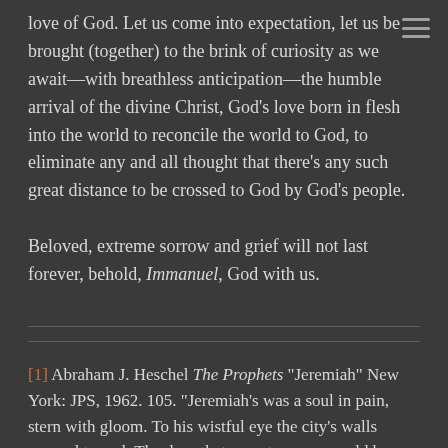love of God. Let us come into expectation, let us be brought (together) to the brink of curiosity as we await—with breathless anticipation—the humble arrival of the divine Christ, God's love born in flesh into the world to reconcile the world to God, to eliminate any and all thought that there's any such great distance to be crossed to God by God's people.

Beloved, extreme sorrow and grief will not last forever, behold, Immanuel, God with us.
[1] Abraham J. Heschel The Prophets "Jeremiah" New York: JPS, 1962. 105. "Jeremiah's was a soul in pain, stern with gloom. To his wistful eye the city's walls seemed to reel. The days that were to come would be dreadful. He called